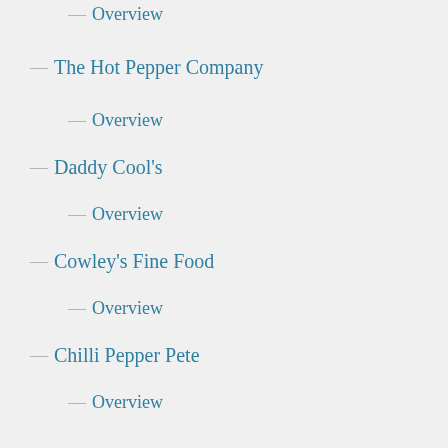Overview
The Hot Pepper Company
Overview
Daddy Cool's
Overview
Cowley's Fine Food
Overview
Chilli Pepper Pete
Overview
The Screaming Chimp
Overview
The Jam Horse
Overview
Opal Sunshine
Overview